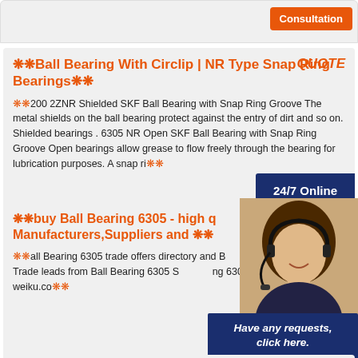Consultation
❋❋Ball Bearing With Circlip | NR Type Snap Ring Bearings❋❋   QUOTE
❋❋200 2ZNR Shielded SKF Ball Bearing with Snap Ring Groove The metal shields on the ball bearing protect against the entry of dirt and so on. Shielded bearings . 6305 NR Open SKF Ball Bearing with Snap Ring Groove Open bearings allow grease to flow freely through the bearing for lubrication purposes. A snap ri❋❋
❋❋buy Ball Bearing 6305 - high q Manufacturers,Suppliers and ❋❋   OTE
❋❋all Bearing 6305 trade offers directory and B ess offers list. Trade leads from Ball Bearing 6305 S ng 6305 buyers provided by weiku.co❋❋
[Figure (photo): Customer service representative woman wearing headset, smiling]
❋❋Deep groove ball bearings - Sh OTE
❋❋rincipal dimensions, Basic load ratings, Fatig ratings, Designations. dynamic, static, Reference speed, Limiting speed, Bearing, Snap ring. d, D, B, C, C, C0, Pu. mm, kN, kN, r/min. 150 225 35 125 125 3 9 6000 3000 ▷ 6030-27 30 72 19 29.6 16 0.67 20000 13000
Have any requests, click here.
Quotation
24/7 Online